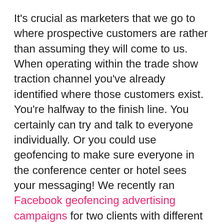It's crucial as marketers that we go to where prospective customers are rather than assuming they will come to us. When operating within the trade show traction channel you've already identified where those customers exist. You're halfway to the finish line. You certainly can try and talk to everyone individually. Or you could use geofencing to make sure everyone in the conference center or hotel sees your messaging! We recently ran Facebook geofencing advertising campaigns for two clients with different goals, but similar results.